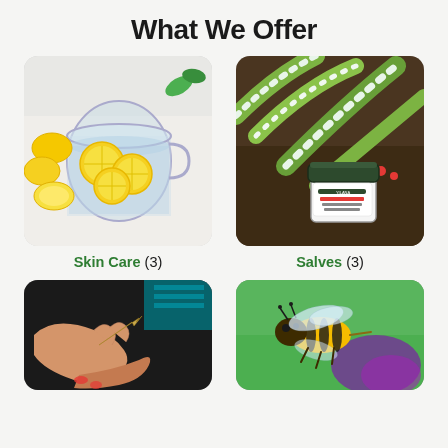What We Offer
[Figure (photo): A glass pitcher filled with lemon slices in water, surrounded by halved lemons on a white surface.]
Skin Care (3)
[Figure (photo): A small jar of herbal salve/balm labeled YILANA placed on dark garden soil among green and white striped leaves.]
Salves (3)
[Figure (photo): Hands holding a small plant leaf or thorn, close-up, with a teal garment visible in background.]
[Figure (photo): A close-up of a honeybee in flight against a blurred green and purple background.]